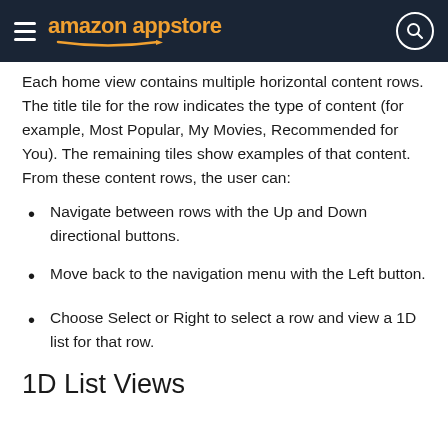amazon appstore
Each home view contains multiple horizontal content rows. The title tile for the row indicates the type of content (for example, Most Popular, My Movies, Recommended for You). The remaining tiles show examples of that content. From these content rows, the user can:
Navigate between rows with the Up and Down directional buttons.
Move back to the navigation menu with the Left button.
Choose Select or Right to select a row and view a 1D list for that row.
1D List Views